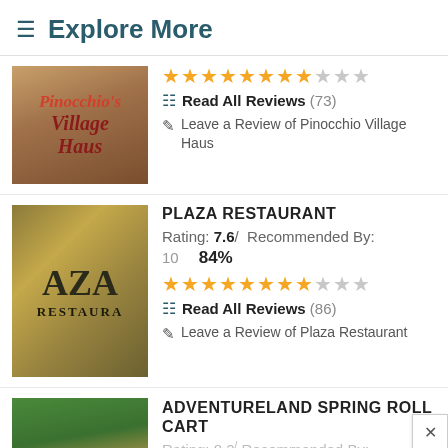≡ Explore More
[Figure (photo): Pinocchio Village Haus restaurant sign photo]
★★★★★★★★☆☆☆
Read All Reviews (73)
Leave a Review of Pinocchio Village Haus
PLAZA RESTAURANT
Rating: 7.6 / Recommended By: 10   84%
[Figure (photo): Plaza Restaurant sign photo with gold decorative lettering]
★★★★★★★★☆☆☆
Read All Reviews (86)
Leave a Review of Plaza Restaurant
ADVENTURELAND SPRING ROLL CART
Rating: 8.2 / Recommended By: 10   100%
[Figure (photo): Adventureland Spring Roll Cart outdoor photo]